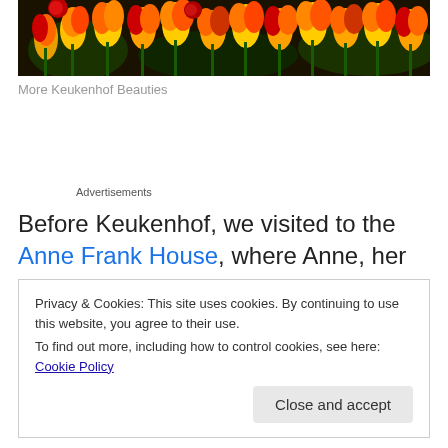[Figure (photo): Close-up photograph of colorful tulips and flowers in red, orange, and yellow colors at Keukenhof gardens]
More Keukenhof Beauties
Advertisements
Before Keukenhof, we visited to the Anne Frank House, where Anne, her family and several others hid for two years in a small annex of a factory before being
Privacy & Cookies: This site uses cookies. By continuing to use this website, you agree to their use.
To find out more, including how to control cookies, see here: Cookie Policy
Close and accept